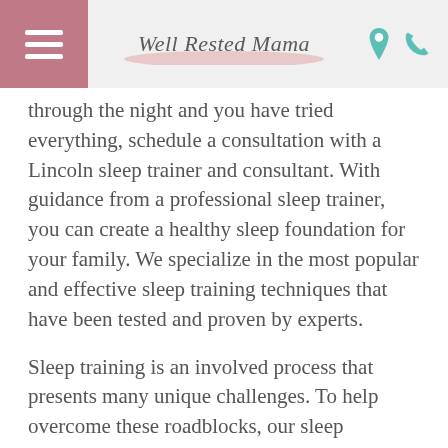Well Rested Mama
through the night and you have tried everything, schedule a consultation with a Lincoln sleep trainer and consultant. With guidance from a professional sleep trainer, you can create a healthy sleep foundation for your family. We specialize in the most popular and effective sleep training techniques that have been tested and proven by experts.
Sleep training is an involved process that presents many unique challenges. To help overcome these roadblocks, our sleep consultants develop custom plans that address the individual needs of every client. We can teach you solutions to get your baby to sleep through